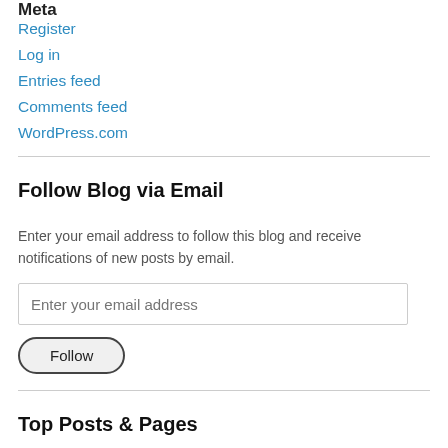Meta
Register
Log in
Entries feed
Comments feed
WordPress.com
Follow Blog via Email
Enter your email address to follow this blog and receive notifications of new posts by email.
Top Posts & Pages